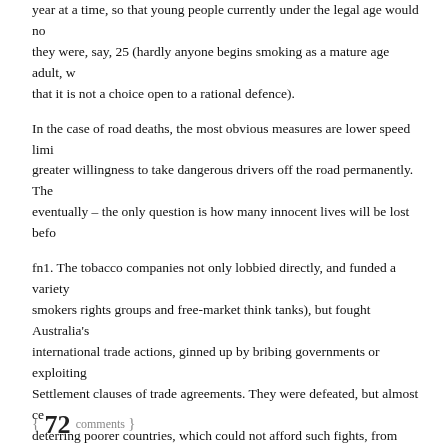year at a time, so that young people currently under the legal age would not be able to smoke when they were, say, 25 (hardly anyone begins smoking as a mature age adult, which is one reason that it is not a choice open to a rational defence).
In the case of road deaths, the most obvious measures are lower speed limits and greater willingness to take dangerous drivers off the road permanently. These changes will come eventually – the only question is how many innocent lives will be lost before they do.
fn1. The tobacco companies not only lobbied directly, and funded a variety of front groups (smokers rights groups and free-market think tanks), but fought Australia's plain packaging through international trade actions, ginned up by bribing governments or exploiting Investor-State Dispute Settlement clauses of trade agreements. They were defeated, but almost certainly succeeded in deterring poorer countries, which could not afford such fights, from following Australia's lead.
Share this:
Tweet
{ 72 comments }